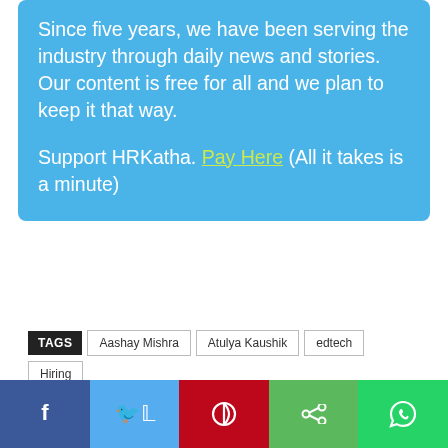Since five years, we have been serving the industry through daily news and stories. Our content is free for all and we plan to keep it that way.
Support HRKatha. Pay Here (All it takes is a minute)
TAGS: Aashay Mishra, Atulya Kaushik, edtech, Hiring, Manish Agarwal, PrepInsta, StartUp, Vellore
Previous article | Next article